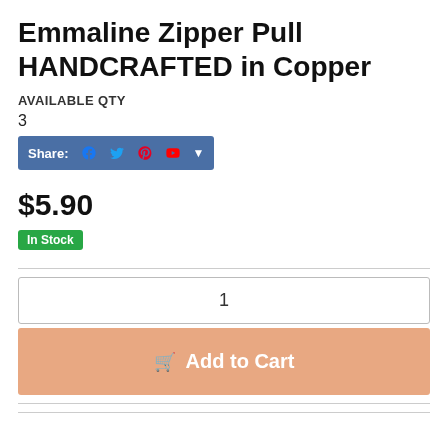Emmaline Zipper Pull HANDCRAFTED in Copper
AVAILABLE QTY
3
[Figure (other): Share bar with social media icons: Facebook, Twitter, Pinterest, and a dropdown arrow, on a blue background]
$5.90
In Stock
1
Add to Cart